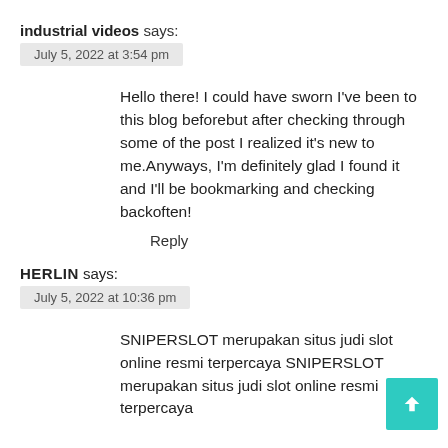industrial videos says:
July 5, 2022 at 3:54 pm
Hello there! I could have sworn I've been to this blog beforebut after checking through some of the post I realized it's new to me.Anyways, I'm definitely glad I found it and I'll be bookmarking and checking backoften!
Reply
HERLIN says:
July 5, 2022 at 10:36 pm
SNIPERSLOT merupakan situs judi slot online resmi terpercaya SNIPERSLOT merupakan situs judi slot online resmi terpercaya